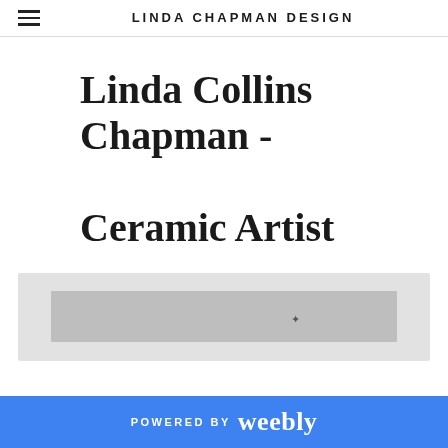LINDA CHAPMAN DESIGN
Linda Collins Chapman - Ceramic Artist
[Figure (photo): A wide light gray rectangular panel with a darker gray rectangular element inside. Small decorative marks near the center-right.]
POWERED BY weebly